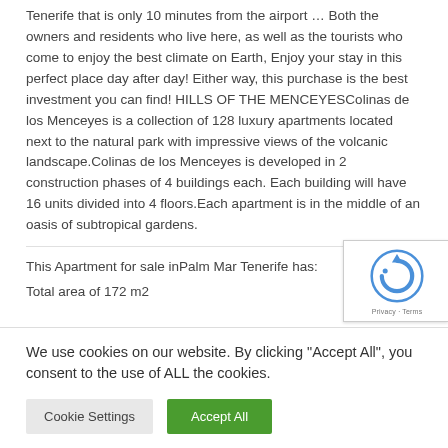Tenerife that is only 10 minutes from the airport … Both the owners and residents who live here, as well as the tourists who come to enjoy the best climate on Earth, Enjoy your stay in this perfect place day after day! Either way, this purchase is the best investment you can find! HILLS OF THE MENCEYESColinas de los Menceyes is a collection of 128 luxury apartments located next to the natural park with impressive views of the volcanic landscape.Colinas de los Menceyes is developed in 2 construction phases of 4 buildings each. Each building will have 16 units divided into 4 floors.Each apartment is in the middle of an oasis of subtropical gardens.
This Apartment for sale inPalm Mar Tenerife has:
Total area of 172 m2
[Figure (logo): reCAPTCHA badge with robot icon and Privacy - Terms text]
We use cookies on our website. By clicking "Accept All", you consent to the use of ALL the cookies.